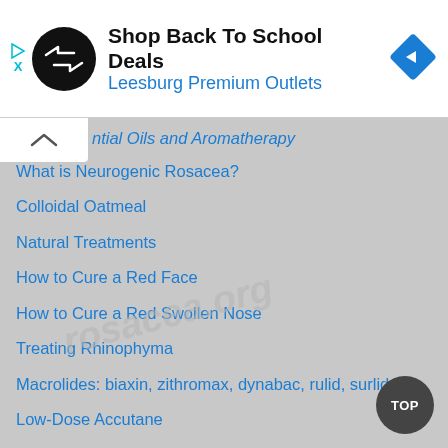[Figure (other): Advertisement banner for Leesburg Premium Outlets with logo and navigation icon]
ntial Oils and Aromatherapy
What is Neurogenic Rosacea?
Colloidal Oatmeal
Natural Treatments
How to Cure a Red Face
How to Cure a Red Swollen Nose
Treating Rhinophyma
Macrolides: biaxin, zithromax, dynabac, rulid, surlid
Low-Dose Accutane
Tetracyclines
When Flushing is Not Rosacea
Choosing a Moisturizer
Demodex Mites and Ivermectin (stromectol)